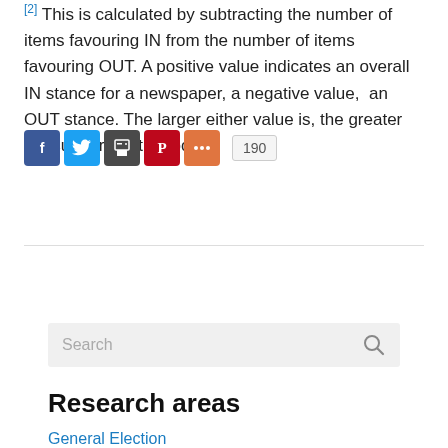[2] This is calculated by subtracting the number of items favouring IN from the number of items favouring OUT. A positive value indicates an overall IN stance for a newspaper, a negative value, an OUT stance. The larger either value is, the greater the support for that posit
[Figure (other): Social sharing buttons: Facebook (blue), Twitter (blue), Print (dark grey), Pinterest (red), More (orange-red), and a share count badge showing 190]
[Figure (other): Search bar with placeholder text 'Search' and a magnifying glass icon on the right, on a light grey background]
Research areas
General Election